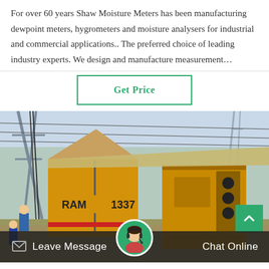For over 60 years Shaw Moisture Meters has been manufacturing dewpoint meters, hygrometers and moisture analysers for industrial and commercial applications.. The preferred choice of leading industry experts. We design and manufacture measurement…
Get Price
[Figure (photo): Industrial scene showing yellow heavy equipment/trucks labeled RAM 1337, electrical infrastructure with power lines and pylons, workers in blue uniforms visible in background]
Leave Message
Chat Online